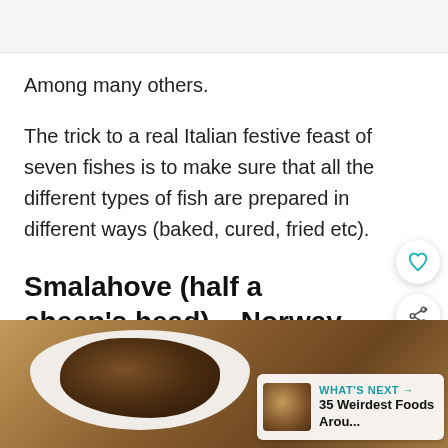Among many others.
The trick to a real Italian festive feast of seven fishes is to make sure that all the different types of fish are prepared in different ways (baked, cured, fried etc).
Smalahove (half a sheep's head) – Norway
[Figure (photo): Photo of smalahove (half a sheep's head) on a white plate, on a brown/golden background. A 'What's Next' overlay shows a thumbnail and text '35 Weirdest Foods Arou...']